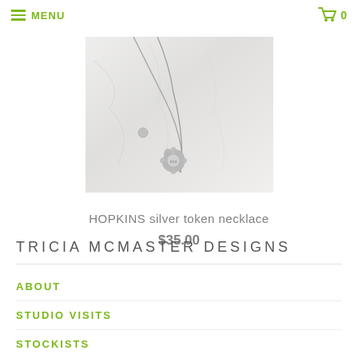MENU  0
[Figure (photo): Black and white photograph of silver necklaces with a flower-shaped token pendant, on a light marble background]
HOPKINS silver token necklace
$35.00
TRICIA MCMASTER DESIGNS
ABOUT
STUDIO VISITS
STOCKISTS